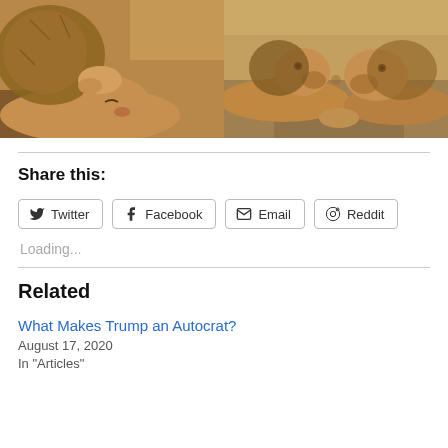[Figure (photo): Two side-by-side photos of lions resting/grooming each other]
Share this:
Twitter  Facebook  Email  Reddit (share buttons)
Loading...
Related
What Makes Trump an Autocrat?
August 17, 2020
In "Articles"